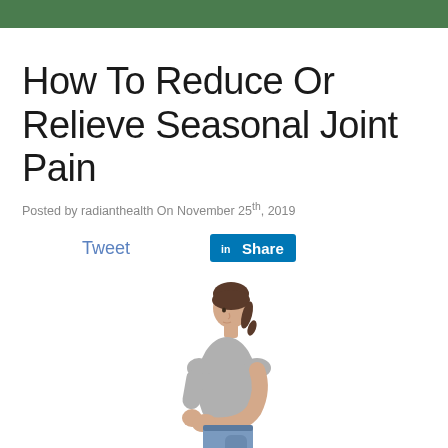How To Reduce Or Relieve Seasonal Joint Pain
Posted by radianthealth On November 25th, 2019
[Figure (other): Social sharing buttons: Tweet (Twitter) and Share (LinkedIn)]
[Figure (photo): A young woman with brown hair in a ponytail, wearing a grey t-shirt and jeans, looking down and holding her elbow/arm joint, suggesting joint pain.]